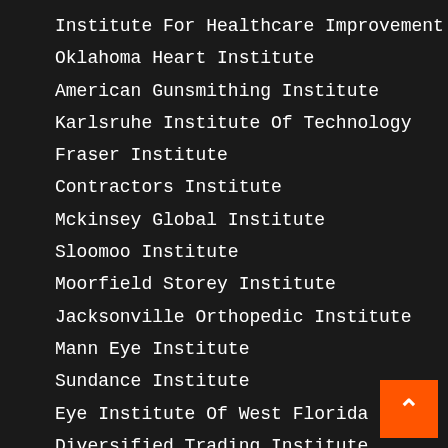Institute For Healthcare Improvement
Oklahoma Heart Institute
American Gunsmithing Institute
Karlsruhe Institute Of Technology
Fraser Institute
Contractors Institute
Mckinsey Global Institute
Sloomoo Institute
Moorfield Storey Institute
Jacksonville Orthopedic Institute
Mann Eye Institute
Sundance Institute
Eye Institute Of West Florida
Diversified Trading Institute
Arbinger Institute
The Float Institute
Eagle Hill Institute
Alaska Heart Institute